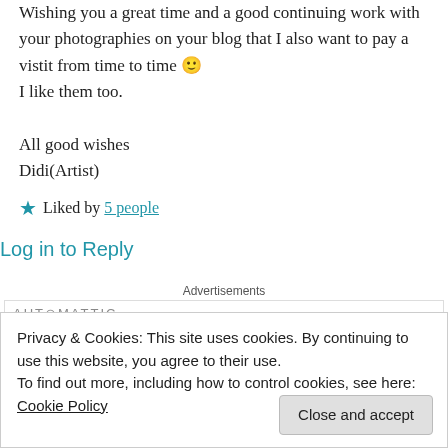Wishing you a great time and a good continuing work with your photographies on your blog that I also want to pay a vistit from time to time 🙂
I like them too.

All good wishes
Didi(Artist)
★ Liked by 5 people
Log in to Reply
Advertisements
AUT⊙MATTIC
Privacy & Cookies: This site uses cookies. By continuing to use this website, you agree to their use.
To find out more, including how to control cookies, see here: Cookie Policy
Close and accept